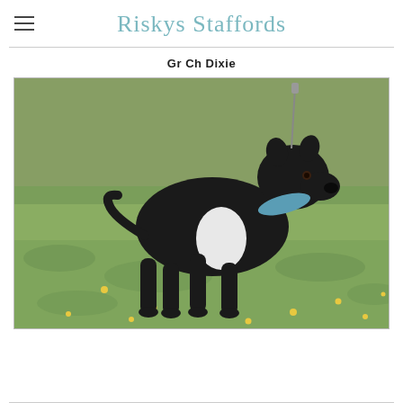Risky's Staffords
Gr Ch Dixie
[Figure (photo): A black and white Staffordshire Bull Terrier dog standing on a grassy field with yellow flowers, wearing a blue collar and attached to a leash. The dog is posing in a show stance.]